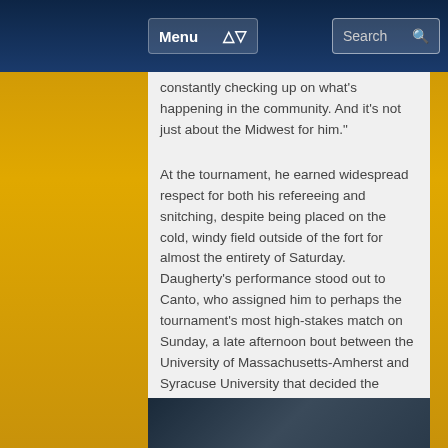Menu | Search
constantly checking up on what's happening in the community. And it's not just about the Midwest for him."
At the tournament, he earned widespread respect for both his refereeing and snitching, despite being placed on the cold, windy field outside of the fort for almost the entirety of Saturday. Daugherty’s performance stood out to Canto, who assigned him to perhaps the tournament's most high-stakes match on Sunday, a late afternoon bout between the University of Massachusetts-Amherst and Syracuse University that decided the region's final World Cup berth.
[Figure (photo): Dark photograph visible at bottom of page, appears to be an outdoor scene]